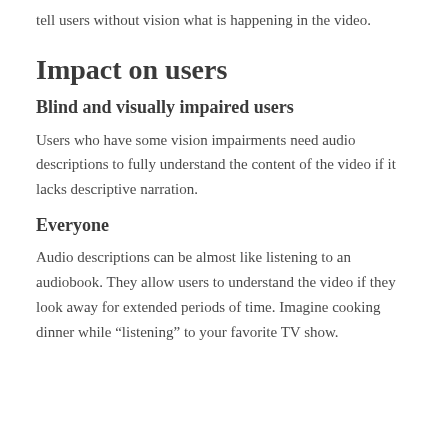tell users without vision what is happening in the video.
Impact on users
Blind and visually impaired users
Users who have some vision impairments need audio descriptions to fully understand the content of the video if it lacks descriptive narration.
Everyone
Audio descriptions can be almost like listening to an audiobook. They allow users to understand the video if they look away for extended periods of time. Imagine cooking dinner while “listening” to your favorite TV show.